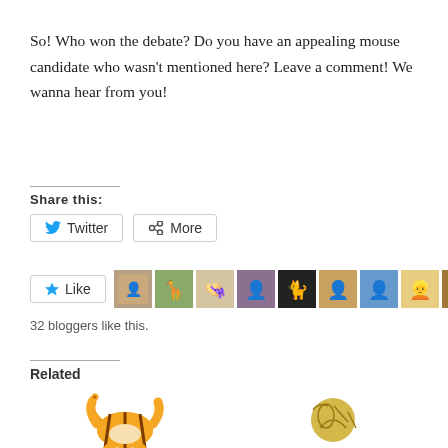So! Who won the debate? Do you have an appealing mouse candidate who wasn't mentioned here? Leave a comment! We wanna hear from you!
Share this:
Twitter   More
Like   [avatars] 32 bloggers like this.
Related
[Figure (illustration): Tigger cartoon character jumping]
[Figure (illustration): Gold coin with embossed figures]